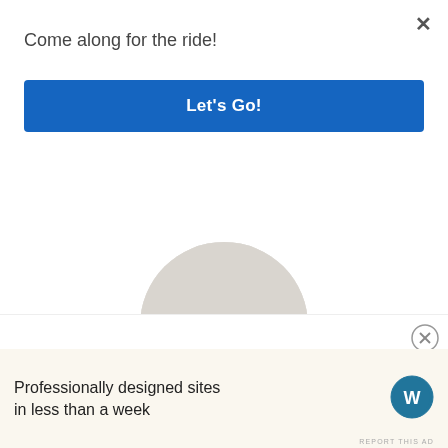Come along for the ride!
Let's Go!
[Figure (photo): Circular cropped photo of a smiling man with glasses, wearing a beige t-shirt, sitting at a desk with hand on chin in a thoughtful pose.]
REPORT THIS AD
[Figure (infographic): Row of five social media icons in orange/gold color: Twitter bird, Facebook circle, Instagram camera, Pinterest P, and another social icon.]
Advertisements
Professionally designed sites in less than a week
[Figure (logo): WordPress logo - circle with W mark in black and white]
REPORT THIS AD